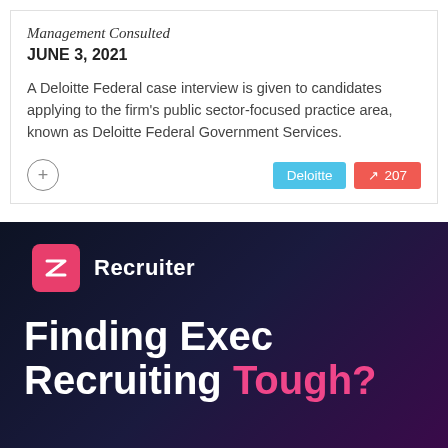Management Consulted
JUNE 3, 2021
A Deloitte Federal case interview is given to candidates applying to the firm's public sector-focused practice area, known as Deloitte Federal Government Services.
[Figure (infographic): Recruiter ad banner with dark navy/purple gradient background. Shows a pink Z-logo icon with 'Recruiter' text, and large bold white text 'Finding Exec Recruiting' with pink 'Tough?' on the next line.]